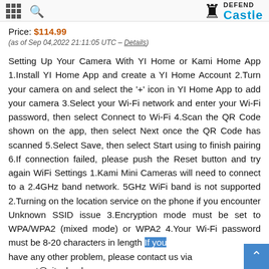Defend Castle [logo with chess rook icon, grid icon, search icon]
Price: $114.99
(as of Sep 04,2022 21:11:05 UTC – Details)
Setting Up Your Camera With YI Home or Kami Home App 1.Install YI Home App and create a YI Home Account 2.Turn your camera on and select the '+' icon in YI Home App to add your camera 3.Select your Wi-Fi network and enter your Wi-Fi password, then select Connect to Wi-Fi 4.Scan the QR Code shown on the app, then select Next once the QR Code has scanned 5.Select Save, then select Start using to finish pairing 6.If connection failed, please push the Reset button and try again WiFi Settings 1.Kami Mini Cameras will need to connect to a 2.4GHz band network. 5GHz WiFi band is not supported 2.Turning on the location service on the phone if you encounter Unknown SSID issue 3.Encryption mode must be set to WPA/WPA2 (mixed mode) or WPA2 4.Your Wi-Fi password must be 8-20 characters in length If you have any other problem, please contact us via support@yitechnology.com